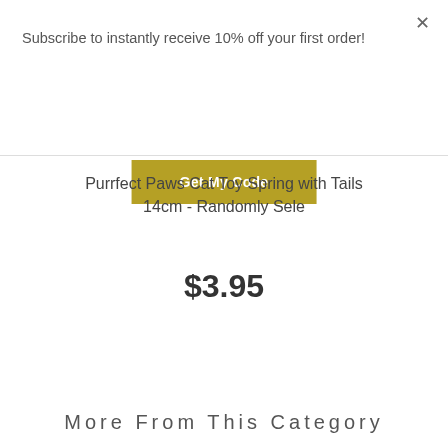Subscribe to instantly receive 10% off your first order!
Get My Code
Purrfect Paws Cat Toy Spring with Tails 14cm - Randomly Sele
$3.95
ADD TO CART
More From This Category